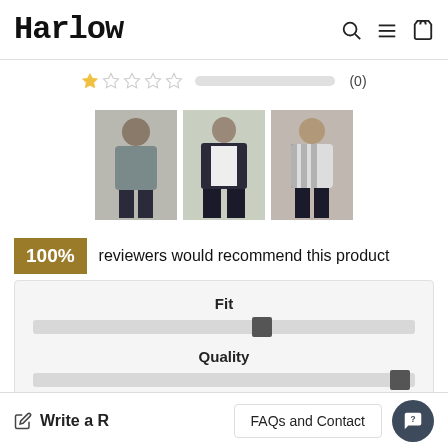Harlow
[Figure (other): Star rating row: 1 filled star, 4 empty stars, grey progress bar, (0) count]
[Figure (photo): Three product photos of clothing items on people]
100% reviewers would recommend this product
[Figure (infographic): Fit and Quality slider controls box. Fit slider thumb positioned at 3rd segment. Quality slider thumb positioned at far right.]
Write a R
FAQs and Contact